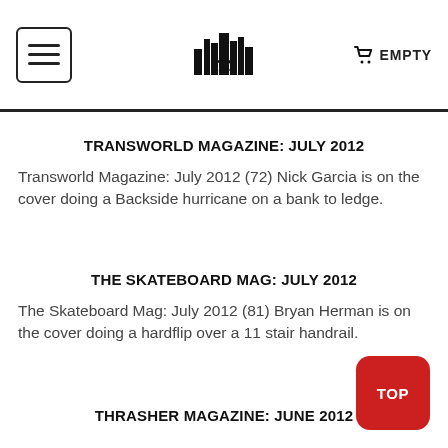☰ [logo] 🛒 EMPTY
TRANSWORLD MAGAZINE: JULY 2012
Transworld Magazine: July 2012 (72) Nick Garcia is on the cover doing a Backside hurricane on a bank to ledge.
THE SKATEBOARD MAG: JULY 2012
The Skateboard Mag: July 2012 (81) Bryan Herman is on the cover doing a hardflip over a 11 stair handrail.
THRASHER MAGAZINE: JUNE 2012